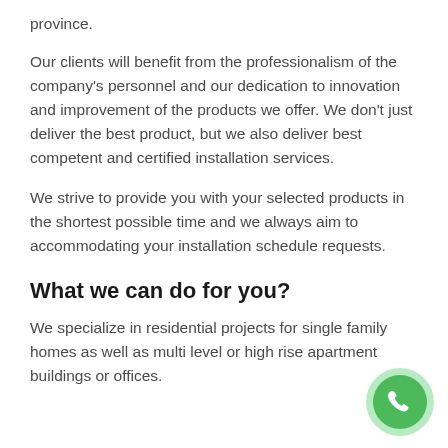province.
Our clients will benefit from the professionalism of the company's personnel and our dedication to innovation and improvement of the products we offer. We don't just deliver the best product, but we also deliver best competent and certified installation services.
We strive to provide you with your selected products in the shortest possible time and we always aim to accommodating your installation schedule requests.
What we can do for you?
We specialize in residential projects for single family homes as well as multi level or high rise apartment buildings or offices.